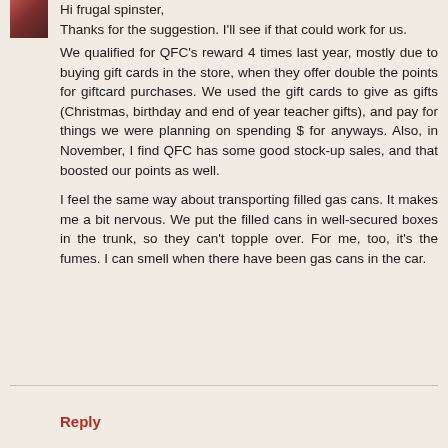[Figure (photo): Small avatar photo of a person, partially visible in top-left corner]
Hi frugal spinster,
Thanks for the suggestion. I'll see if that could work for us.
We qualified for QFC's reward 4 times last year, mostly due to buying gift cards in the store, when they offer double the points for giftcard purchases. We used the gift cards to give as gifts (Christmas, birthday and end of year teacher gifts), and pay for things we were planning on spending $ for anyways. Also, in November, I find QFC has some good stock-up sales, and that boosted our points as well.

I feel the same way about transporting filled gas cans. It makes me a bit nervous. We put the filled cans in well-secured boxes in the trunk, so they can't topple over. For me, too, it's the fumes. I can smell when there have been gas cans in the car.
Reply